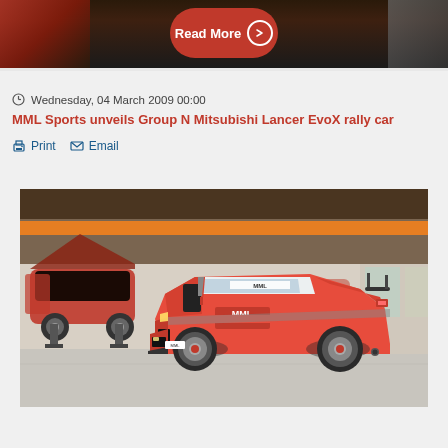[Figure (photo): Top banner showing partial view of rally car wheels and body against dark background, with a red 'Read More' button with arrow]
Wednesday, 04 March 2009 00:00
MML Sports unveils Group N Mitsubishi Lancer EvoX rally car
Print  Email
[Figure (photo): Workshop/garage interior showing an orange Mitsubishi Lancer EvoX rally car with MML Sports livery in the foreground, and other cars being worked on in the background. The orange and white car has MML branding prominently displayed.]